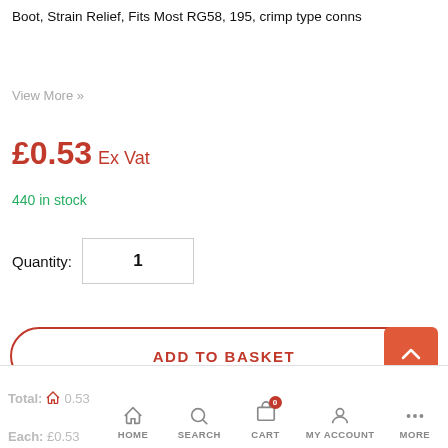Boot, Strain Relief, Fits Most RG58, 195, crimp type conns
View More »
£0.53 Ex Vat
440 in stock
Quantity: 1
ADD TO BASKET
Total: £0.53  Each: £0.53  HOME  SEARCH  CART  MY ACCOUNT  MORE